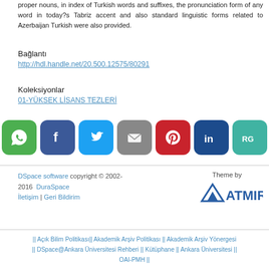proper nouns, in index of Turkish words and suffixes, the pronunciation form of any word in today?s Tabriz accent and also standard linguistic forms related to Azerbaijan Turkish were also provided.
Bağlantı
http://hdl.handle.net/20.500.12575/80291
Koleksiyonlar
01-YÜKSEK LİSANS TEZLERİ
[Figure (infographic): Social media share buttons: WhatsApp (green), Facebook (dark blue), Twitter (light blue), Email (gray), Pinterest (red), LinkedIn (dark blue), ResearchGate (teal)]
DSpace software copyright © 2002-2016  DuraSpace
İletişim | Geri Bildirim
Theme by ATMIRE
|| Açık Bilim Politikası|| Akademik Arşiv Politikası || Akademik Arşiv Yönergesi || DSpace@Ankara Üniversitesi Rehberi || Kütüphane || Ankara Üniversitesi || OAI-PMH ||